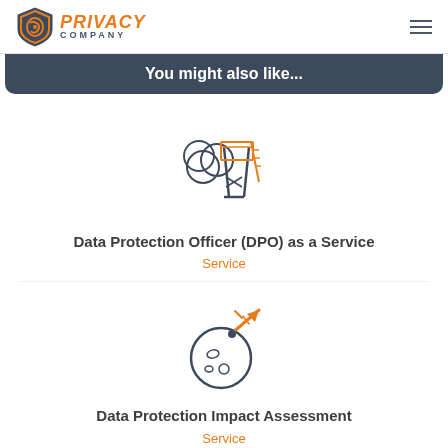Privacy Company
You might also like...
[Figure (illustration): Icon of a watchtower/observation tower with trees, drawn in dark slate and orange outline style]
Data Protection Officer (DPO) as a Service
Service
[Figure (illustration): Icon of a planet/moon with a rocket or arrow hitting it, drawn in dark slate and orange outline style]
Data Protection Impact Assessment
Service